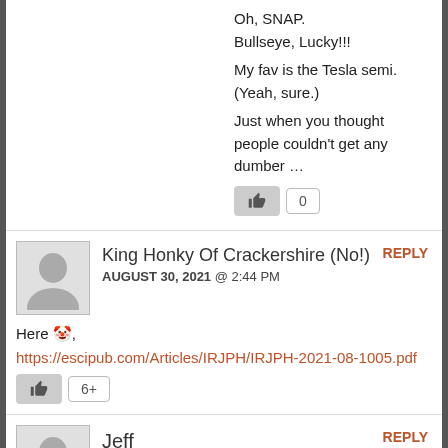Oh, SNAP.
Bullseye, Lucky!!!

My fav is the Tesla semi.
(Yeah, sure.)

Just when you thought people couldn't get any dumber …
King Honky Of Crackershire (No!)
AUGUST 30, 2021 @ 2:44 PM
REPLY
Here 🤡,
https://escipub.com/Articles/IRJPH/IRJPH-2021-08-1005.pdf
Jeff
AUGUST 31, 2021 @ 4:43 AM
REPLY
He was vaccinated and wore a mask constantly